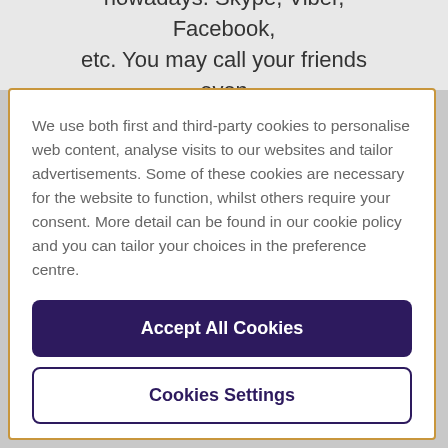nowadays. Skype, Viber, Facebook, etc. You may call your friends even
We use both first and third-party cookies to personalise web content, analyse visits to our websites and tailor advertisements. Some of these cookies are necessary for the website to function, whilst others require your consent. More detail can be found in our cookie policy and you can tailor your choices in the preference centre.
Accept All Cookies
Cookies Settings